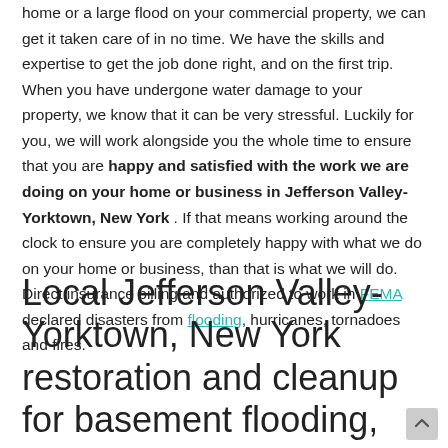home or a large flood on your commercial property, we can get it taken care of in no time. We have the skills and expertise to get the job done right, and on the first trip. When you have undergone water damage to your property, we know that it can be very stressful. Luckily for you, we will work alongside you the whole time to ensure that you are happy and satisfied with the work we are doing on your home or business in Jefferson Valley-Yorktown, New York . If that means working around the clock to ensure you are completely happy with what we do on your home or business, than that is what we will do. Direct insurance billing and authorized to work in FEMA declared disasters from flooding, hurricanes, tornadoes and fires.
Local Jefferson Valley-Yorktown, New York restoration and cleanup for basement flooding,